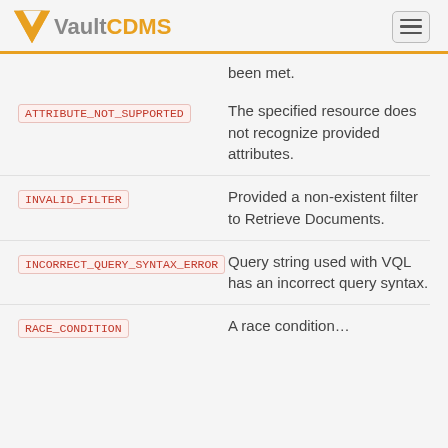VaultCDMS
been met.
ATTRIBUTE_NOT_SUPPORTED — The specified resource does not recognize provided attributes.
INVALID_FILTER — Provided a non-existent filter to Retrieve Documents.
INCORRECT_QUERY_SYNTAX_ERROR — Query string used with VQL has an incorrect query syntax.
RACE_CONDITION — A race condition...